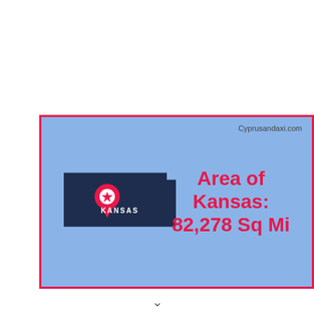[Figure (infographic): Infographic showing a map silhouette of Kansas (dark navy blue) with a red location pin marker and 'KANSAS' label, on a light blue background with a red border. Text reads 'Area of Kansas: 82,278 Sq Mi' in bold red on the right side. Watermark 'Cyprusandaxi.com' in top right.]